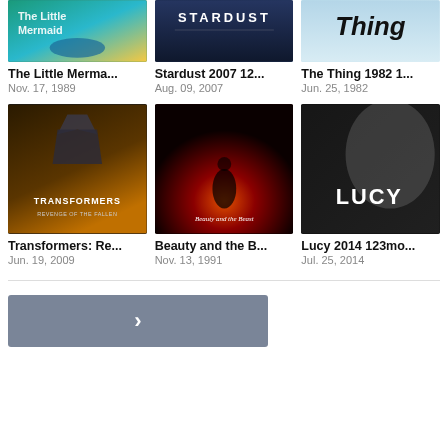[Figure (screenshot): Movie grid UI showing 6 movie cards in 2 rows of 3, with posters, titles, and release dates, followed by a next page button]
The Little Merma...
Nov. 17, 1989
Stardust 2007 12...
Aug. 09, 2007
The Thing 1982 1...
Jun. 25, 1982
Transformers: Re...
Jun. 19, 2009
Beauty and the B...
Nov. 13, 1991
Lucy 2014 123mo...
Jul. 25, 2014